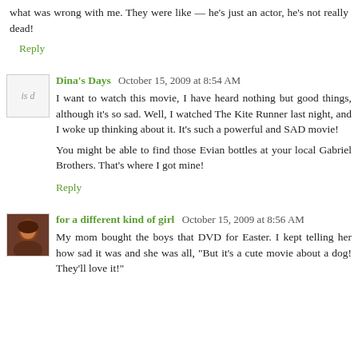what was wrong with me. They were like — he's just an actor, he's not really dead!
Reply
Dina's Days  October 15, 2009 at 8:54 AM
I want to watch this movie, I have heard nothing but good things, although it's so sad. Well, I watched The Kite Runner last night, and I woke up thinking about it. It's such a powerful and SAD movie!
You might be able to find those Evian bottles at your local Gabriel Brothers. That's where I got mine!
Reply
for a different kind of girl  October 15, 2009 at 8:56 AM
My mom bought the boys that DVD for Easter. I kept telling her how sad it was and she was all, "But it's a cute movie about a dog! They'll love it!"